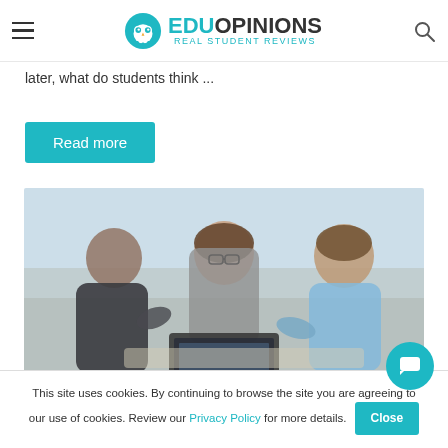EduOpinions - Real Student Reviews
later, what do students think ...
Read more
[Figure (photo): Three students looking at a laptop together outdoors, blurred background]
This site uses cookies. By continuing to browse the site you are agreeing to our use of cookies. Review our Privacy Policy for more details.